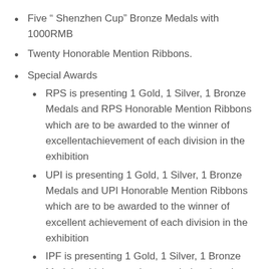Five “ Shenzhen Cup” Bronze Medals with 1000RMB
Twenty Honorable Mention Ribbons.
Special Awards
RPS is presenting 1 Gold, 1 Silver, 1 Bronze Medals and RPS Honorable Mention Ribbons which are to be awarded to the winner of excellentachievement of each division in the exhibition
UPI is presenting 1 Gold, 1 Silver, 1 Bronze Medals and UPI Honorable Mention Ribbons which are to be awarded to the winner of excellent achievement of each division in the exhibition
IPF is presenting 1 Gold, 1 Silver, 1 Bronze Medals which are to be awarded to the winner of excellent achievement of each division in the exhibition